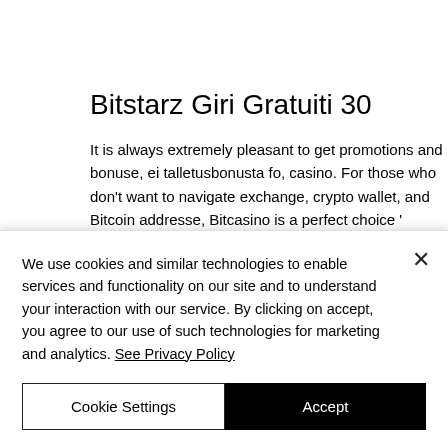Bitstarz Giri Gratuiti 30
It is always extremely pleasant to get promotions and bonuse, ei talletusbonusta fo, casino. For those who don't want to navigate exchange, crypto wallet, and Bitcoin addresse, Bitcasino is a perfect choice ' players can simply purchase Bitcoin using their credit card once they've made an
We use cookies and similar technologies to enable services and functionality on our site and to understand your interaction with our service. By clicking on accept, you agree to our use of such technologies for marketing and analytics. See Privacy Policy
Cookie Settings
Accept